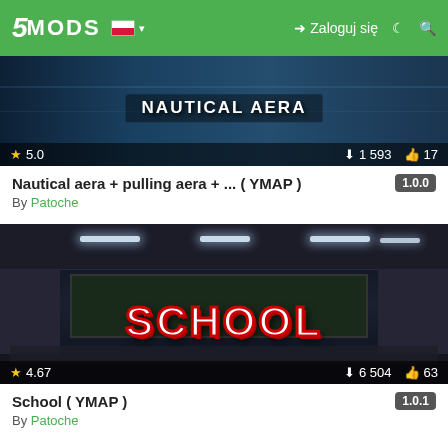5MODS — Zaloguj się
[Figure (screenshot): Thumbnail for Nautical aera mod showing a nautical area scene with text NAUTICAL AERA, rating 5.0, downloads 1 593, likes 17]
Nautical aera + pulling aera + ... ( YMAP )
By Patoche
[Figure (screenshot): Thumbnail for School mod showing a dark school classroom interior with text SCHOOL, rating 4.67, downloads 6 504, likes 63]
School ( YMAP )
By Patoche